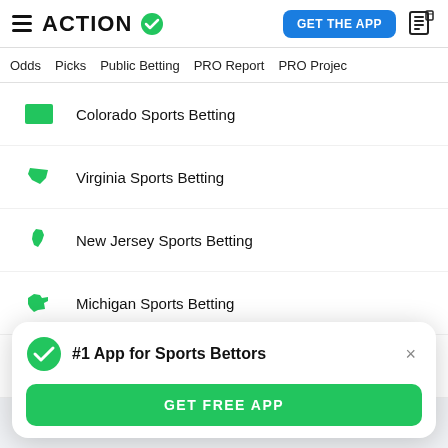ACTION — GET THE APP
Odds  Picks  Public Betting  PRO Report  PRO Project
Colorado Sports Betting
Virginia Sports Betting
New Jersey Sports Betting
Michigan Sports Betting
Arizona Sports Betting
#1 App for Sports Bettors
GET FREE APP